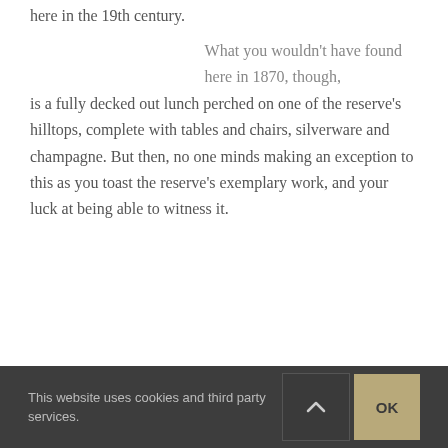here in the 19th century.
What you wouldn't have found here in 1870, though, is a fully decked out lunch perched on one of the reserve's hilltops, complete with tables and chairs, silverware and champagne. But then, no one minds making an exception to this as you toast the reserve's exemplary work, and your luck at being able to witness it.
This website uses cookies and third party services.